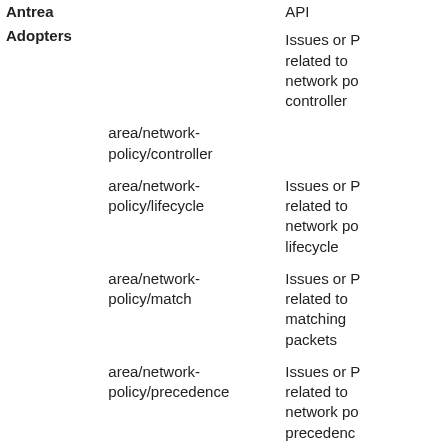|  | Label | Description |
| --- | --- | --- |
| Antrea Adopters |  | API |
|  | area/network-policy/controller | Issues or P related to network po controller |
|  | area/network-policy/lifecycle | Issues or P related to network po lifecycle |
|  | area/network-policy/match | Issues or P related to matching packets |
|  | area/network-policy/precedence | Issues or P related to network po precedenc |
|  | area/octant | Issues or P related to Octant |
|  |  | Issues or P |